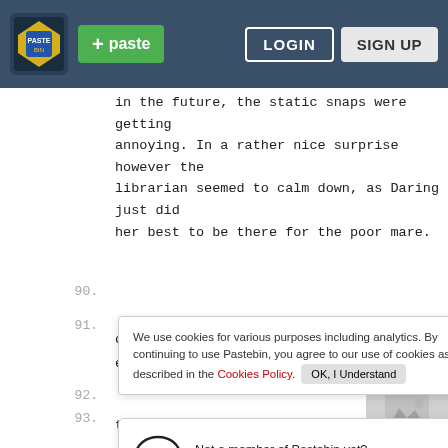+ paste   LOGIN   SIGN UP
in the future, the static snaps were getting annoying. In a rather nice surprise however the librarian seemed to calm down, as Daring just did her best to be there for the poor mare.
90.
91.  of  ey
92.
93.  to
94.
95.  “Perhaps. If you don’t mind I’d really just like to go home and be with my husband right now.”
96.
97.  “Alright, goodbye then.”
We use cookies for various purposes including analytics. By continuing to use Pastebin, you agree to our use of cookies as described in the Cookies Policy. OK, I Understand
Not a member of Pastebin yet? Sign Up, it unlocks many cool features!